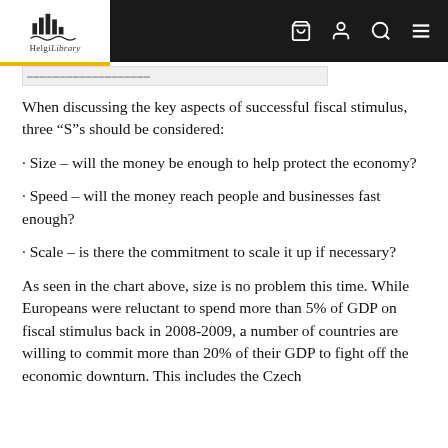Helgi Library
When discussing the key aspects of successful fiscal stimulus, three “S”s should be considered:
· Size – will the money be enough to help protect the economy?
· Speed – will the money reach people and businesses fast enough?
· Scale – is there the commitment to scale it up if necessary?
As seen in the chart above, size is no problem this time. While Europeans were reluctant to spend more than 5% of GDP on fiscal stimulus back in 2008–2009, a number of countries are willing to commit more than 20% of their GDP to fight off the economic downturn. This includes the Czech